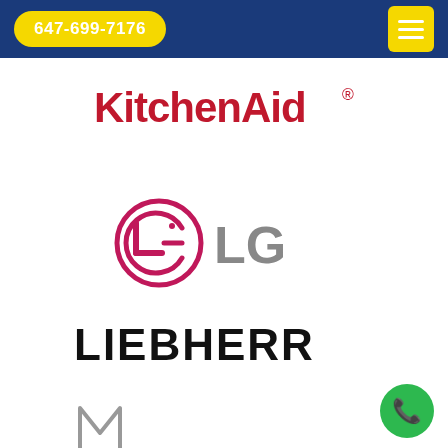647-699-7176
[Figure (logo): KitchenAid logo in dark red/crimson bold font with registered trademark symbol]
[Figure (logo): LG logo: pink/magenta circle with stylized L and G face inside, followed by 'LG' in large gray letters]
[Figure (logo): LIEBHERR logo in large bold black uppercase letters]
[Figure (logo): Partial Miele logo visible at bottom of page]
[Figure (logo): Green circle phone button at bottom right with white phone icon]